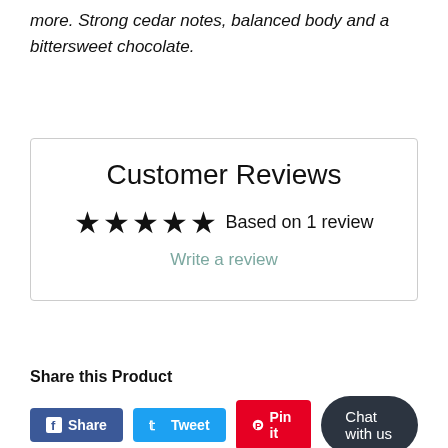more. Strong cedar notes, balanced body and a bittersweet chocolate.
Customer Reviews
★★★★★ Based on 1 review
Write a review
Share this Product
Share
Tweet
Pin it
Chat with us